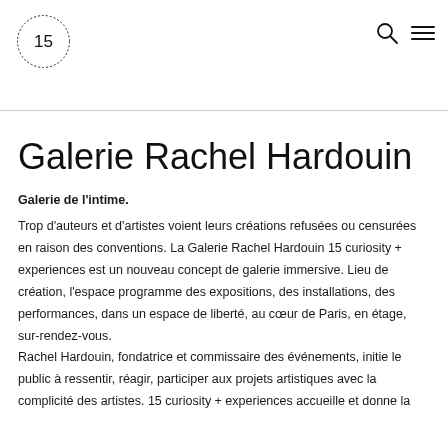15 (logo) | search icon | menu icon
Galerie Rachel Hardouin
Galerie de l'intime.
Trop d'auteurs et d'artistes voient leurs créations refusées ou censurées en raison des conventions. La Galerie Rachel Hardouin 15 curiosity + experiences est un nouveau concept de galerie immersive. Lieu de création, l'espace programme des expositions, des installations, des performances, dans un espace de liberté, au cœur de Paris, en étage, sur-rendez-vous.
Rachel Hardouin, fondatrice et commissaire des événements, initie le public à ressentir, réagir, participer aux projets artistiques avec la complicité des artistes. 15 curiosity + experiences accueille et donne la